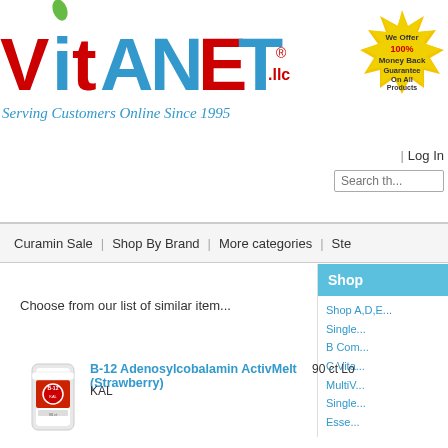[Figure (logo): VitaNet LLC logo with colorful letters and tagline 'Serving Customers Online Since 1995']
[Figure (illustration): Gold starburst badge reading 'We Offer 100% Money Back Guarantee On All Products']
| Log In
Search th...
Curamin Sale | Shop By Brand | More categories | Ste...
Choose from our list of similar item...
Shop
Shop A,D,B... Single... B Com... C Vita... MultiV... Single... Esse...
[Figure (photo): Product image of B-12 Adenosylcobalamin ActivMelt bottle]
B-12 Adenosylcobalamin ActivMelt (Strawberry)
KAL
90 ct Lo...